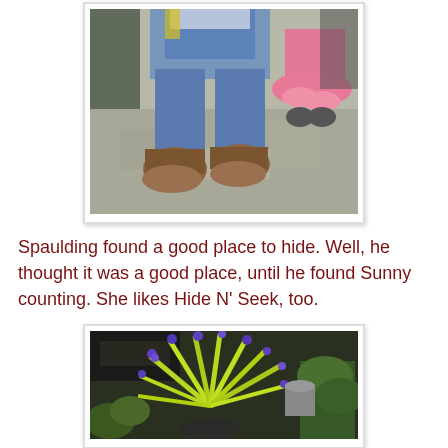[Figure (photo): Two stuffed dolls sitting on a concrete floor. The left doll wears blue denim overalls and brown boots, the right doll wears a pink dress. Viewed from waist/legs down.]
Spaulding found a good place to hide. Well, he thought it was a good place, until he found Sunny counting. She likes Hide N' Seek, too.
[Figure (photo): A garden scene with a bright yellow-green plant featuring purple flowers in the foreground, surrounded by other potted plants and garden items.]